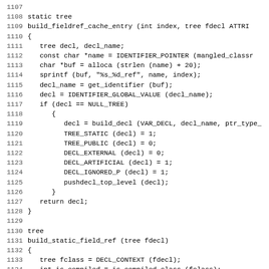[Figure (screenshot): Source code listing showing C/C++ functions build_fieldref_cache_entry and build_static_field_ref with line numbers 1107-1138]